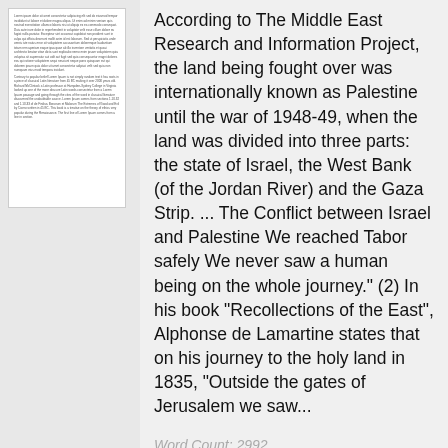[Figure (other): Thumbnail/preview of a text document with small dense text]
According to The Middle East Research and Information Project, the land being fought over was internationally known as Palestine until the war of 1948-49, when the land was divided into three parts: the state of Israel, the West Bank (of the Jordan River) and the Gaza Strip. ... The Conflict between Israel and Palestine We reached Tabor safely We never saw a human being on the whole journey." (2) In his book "Recollections of the East", Alphonse de Lamartine states that on his journey to the holy land in 1835, "Outside the gates of Jerusalem we saw...
Word Count: 2992
Approx Pages: 12